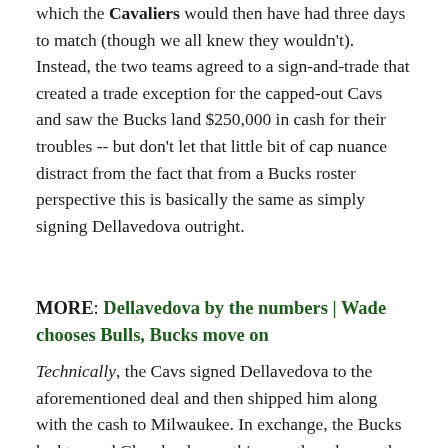which the Cavaliers would then have had three days to match (though we all knew they wouldn't). Instead, the two teams agreed to a sign-and-trade that created a trade exception for the capped-out Cavs and saw the Bucks land $250,000 in cash for their troubles -- but don't let that little bit of cap nuance distract from the fact that from a Bucks roster perspective this is basically the same as simply signing Dellavedova outright.
MORE: Dellavedova by the numbers | Wade chooses Bulls, Bucks move on
Technically, the Cavs signed Dellavedova to the aforementioned deal and then shipped him along with the cash to Milwaukee. In exchange, the Bucks had to send Cleveland something, so they dug up the rights to 34-year-old Spanish forward Albert Mirales, who was...